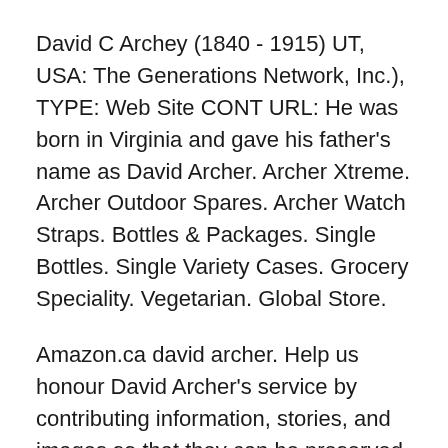David C Archey (1840 - 1915) UT, USA: The Generations Network, Inc.), TYPE: Web Site CONT URL: He was born in Virginia and gave his father's name as David Archer. Archer Xtreme. Archer Outdoor Spares. Archer Watch Straps. Bottles & Packages. Single Bottles. Single Variety Cases. Grocery Speciality. Vegetarian. Global Store.
Amazon.ca david archer. Help us honour David Archer's service by contributing information, stories, and images so that they can be preserved for future generations., If searched for the ebook by David Archer Framed - A Sam Prichard Novel (The Sam Prichard Series) but we